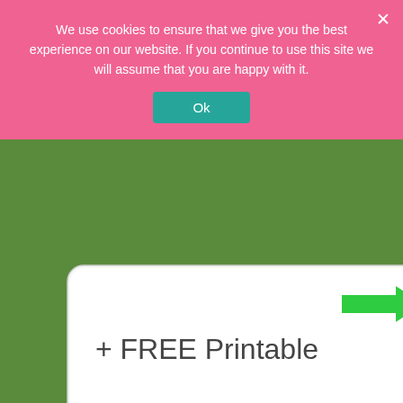[Figure (photo): Collage of Earth Day themed activities: top section shows a white speech bubble with '+ FREE Printable' text and a green arrow pointing to an Earth Day printable worksheet on a tablet/phone; middle left shows chalkboard signs on sticks in grass with text 'Save Water', 'Save electricity', 'Spend time Outside', 'Be kind to animals', 'Nature Knows People'; middle right shows a bee decoration on a stick in soil with a small chalkboard; bottom left shows stones arranged to look like a face in sand/mud; bottom right shows a garden bed with chalkboard labels.]
We use cookies to ensure that we give you the best experience on our website. If you continue to use this site we will assume that you are happy with it.
Ok